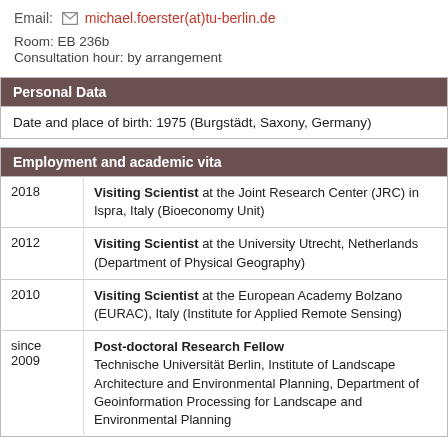Email: michael.foerster(at)tu-berlin.de
Room: EB 236b
Consultation hour: by arrangement
Personal Data
| Date and place of birth: 1975 (Burgstädt, Saxony, Germany) |
Employment and academic vita
| 2018 | Visiting Scientist at the Joint Research Center (JRC) in Ispra, Italy (Bioeconomy Unit) |
| 2012 | Visiting Scientist at the University Utrecht, Netherlands (Department of Physical Geography) |
| 2010 | Visiting Scientist at the European Academy Bolzano (EURAC), Italy (Institute for Applied Remote Sensing) |
| since 2009 | Post-doctoral Research Fellow
Technische Universität Berlin, Institute of Landscape Architecture and Environmental Planning, Department of Geoinformation Processing for Landscape and Environmental Planning |